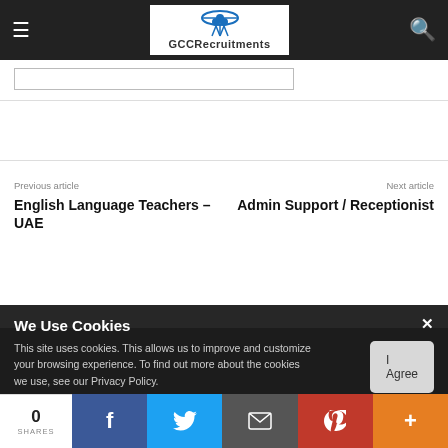GCCRecruitments
Previous article
Next article
English Language Teachers – UAE
Admin Support / Receptionist
We Use Cookies
This site uses cookies. This allows us to improve and customize your browsing experience. To find out more about the cookies we use, see our Privacy Policy.
Privacy Policy
0 SHARES